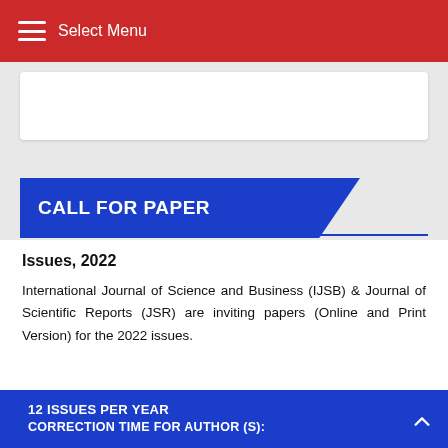Select Menu
CALL FOR PAPER
Issues, 2022
International Journal of Science and Business (IJSB) & Journal of Scientific Reports (JSR) are inviting papers (Online and Print Version) for the 2022 issues.
12 ISSUES PER YEAR
CORRECTION TIME FOR AUTHOR (S):